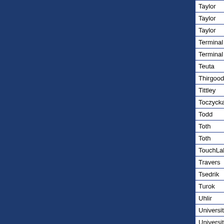| Last Name | Title | Initials | First Name | Ext |
| --- | --- | --- | --- | --- |
| Taylor | Prof | AN | Andy | 298 |
| Taylor | Mrs | V | Vivian | 374 |
| Taylor | Dr | WD | William | 258 |
| Terminal Room - North |  |  |  | 362 |
| Terminal Room - South |  |  |  | 370 |
| Teuta |  | P | Pilizota |  |
| Thirgood | Mr | A | Andrew | 327 |
| Tittley | Dr | ER | Eric | 366 |
| Toczycka | Ms | C | Carolina | 414 |
| Todd | Dr | SP | Stephen | 246 |
| Toth | Mr | B | Bence |  |
| Toth | Mr | B | Bence | 412 |
| TouchLab |  |  |  | 407 |
| Travers | Ms | F | Fiona | 343 |
| Tsedrik | Ms | M | Maria |  |
| Turok | Mr | N | Neil |  |
| Uhlir | Mr | J | Jan | 414 |
| University - Student Lab |  |  |  | 486 |
| University - Student Lab |  |  |  | 340 |